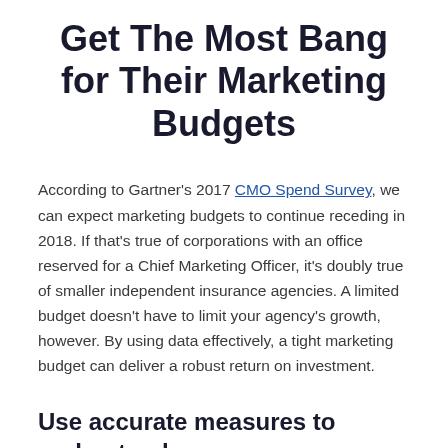Get The Most Bang for Their Marketing Budgets
According to Gartner's 2017 CMO Spend Survey, we can expect marketing budgets to continue receding in 2018. If that's true of corporations with an office reserved for a Chief Marketing Officer, it's doubly true of smaller independent insurance agencies. A limited budget doesn't have to limit your agency's growth, however. By using data effectively, a tight marketing budget can deliver a robust return on investment.
Use accurate measures to understand